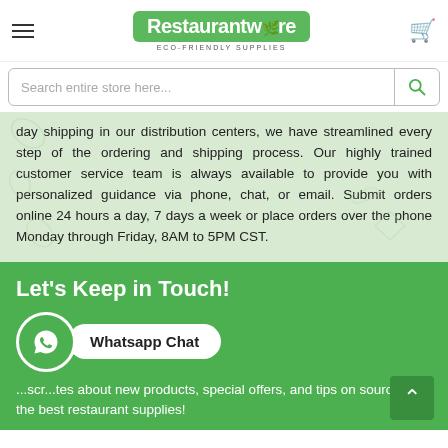[Figure (logo): Restaurantware logo with green background, leaf icon, and 'ECO-FRIENDLY SUPPLIES' tagline]
Search entire store here...
day shipping in our distribution centers, we have streamlined every step of the ordering and shipping process. Our highly trained customer service team is always available to provide you with personalized guidance via phone, chat, or email. Submit orders online 24 hours a day, 7 days a week or place orders over the phone Monday through Friday, 8AM to 5PM CST.
Let's Keep in Touch!
...scr...tes about new products, special offers, and tips on sourcing the best restaurant supplies!